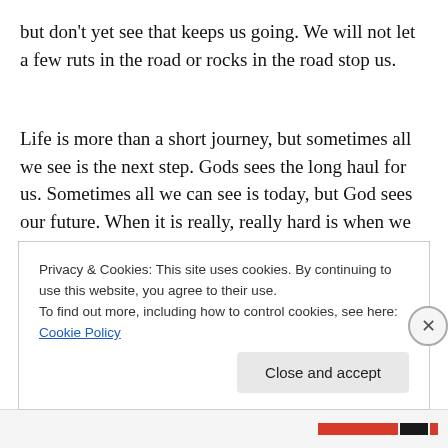but don't yet see that keeps us going. We will not let a few ruts in the road or rocks in the road stop us.
Life is more than a short journey, but sometimes all we see is the next step. Gods sees the long haul for us. Sometimes all we can see is today, but God sees our future. When it is really, really hard is when we need to really, really trust Him. Trust, because we can't fix our
Privacy & Cookies: This site uses cookies. By continuing to use this website, you agree to their use.
To find out more, including how to control cookies, see here: Cookie Policy